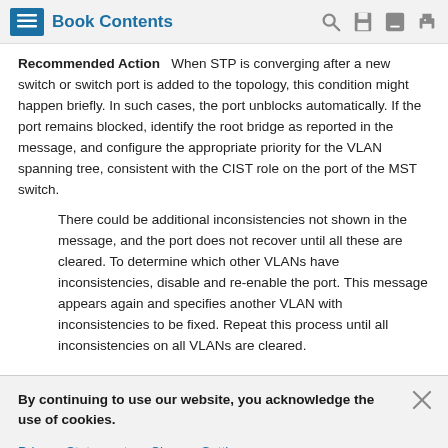Book Contents
Recommended Action    When STP is converging after a new switch or switch port is added to the topology, this condition might happen briefly. In such cases, the port unblocks automatically. If the port remains blocked, identify the root bridge as reported in the message, and configure the appropriate priority for the VLAN spanning tree, consistent with the CIST role on the port of the MST switch.
There could be additional inconsistencies not shown in the message, and the port does not recover until all these are cleared. To determine which other VLANs have inconsistencies, disable and re-enable the port. This message appears again and specifies another VLAN with inconsistencies to be fixed. Repeat this process until all inconsistencies on all VLANs are cleared.
By continuing to use our website, you acknowledge the use of cookies.
Privacy Statement > Change Settings >